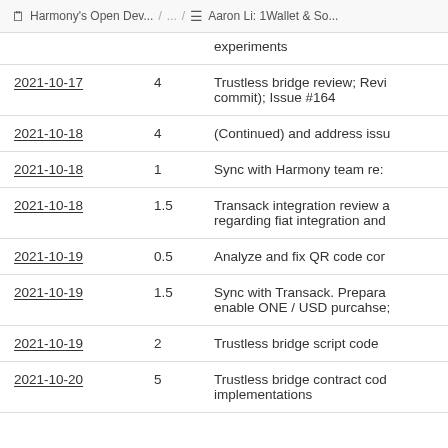Harmony's Open Dev... / ... / Aaron Li: 1Wallet & So...
| Date | Hours | Description |
| --- | --- | --- |
|  |  | experiments |
| 2021-10-17 | 4 | Trustless bridge review; Revi commit); Issue #164 |
| 2021-10-18 | 4 | (Continued) and address issu |
| 2021-10-18 | 1 | Sync with Harmony team re: |
| 2021-10-18 | 1.5 | Transack integration review a regarding fiat integration and |
| 2021-10-19 | 0.5 | Analyze and fix QR code cor |
| 2021-10-19 | 1.5 | Sync with Transack. Prepara enable ONE / USD purcahse; |
| 2021-10-19 | 2 | Trustless bridge script code |
| 2021-10-20 | 5 | Trustless bridge contract cod implementations |